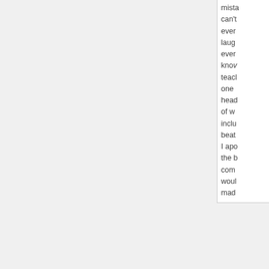mista
can't
ever
laugl
ever
knov
teacl
one 
head
of wl
inclu
beat
I apo
the b
com
woul
mad
back to top
[Figure (photo): Small tabby kitten sitting upright, facing forward, with striped fur markings. Photo displayed as a square thumbnail with a light border.]
Zooey July 30, 2012
It is so good to see Christian folks speaking out against the turning away from the Gospel of Jesus Christ in order to fo